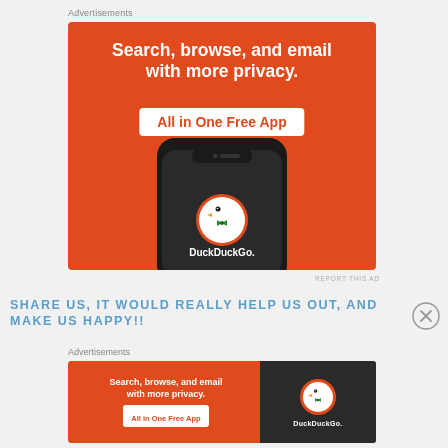Advertisements
[Figure (illustration): DuckDuckGo advertisement: orange background with white bold text 'Search, browse, and email with more privacy.' and 'All in One Free App' badge, showing a smartphone with DuckDuckGo app icon and logo]
REPORT THIS AD
SHARE US, IT WOULD REALLY HELP US OUT, AND MAKE US HAPPY!!
Advertisements
[Figure (illustration): DuckDuckGo banner advertisement: orange background, white text 'Search, browse, and email with more privacy.' and 'All in One Free App' badge on the left; dark panel on the right with DuckDuckGo duck icon and 'DuckDuckGo.' text]